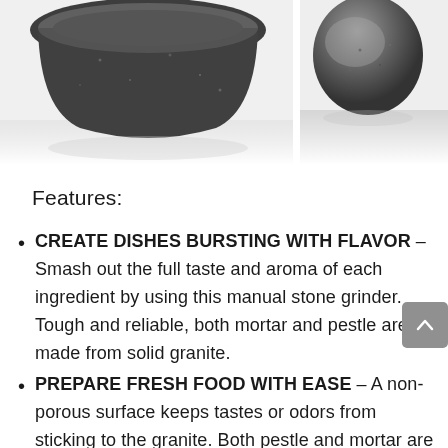[Figure (photo): Two photos of a granite mortar and pestle set on a white background. Left photo shows the mortar bowl from above/side angle. Right photo shows the pestle stone piece close up.]
Features:
CREATE DISHES BURSTING WITH FLAVOR – Smash out the full taste and aroma of each ingredient by using this manual stone grinder. Tough and reliable, both mortar and pestle are made from solid granite.
PREPARE FRESH FOOD WITH EASE – A non-porous surface keeps tastes or odors from sticking to the granite. Both pestle and mortar are reversible